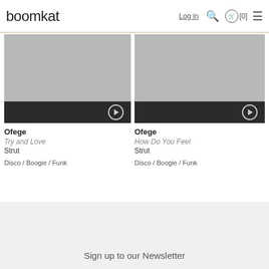boomkat  Log in  [0]
[Figure (screenshot): Album artwork placeholder (grey) with dark play bar for Ofege - Try and Love]
Ofege
Try and Love
Strut
Disco / Boogie / Funk
[Figure (screenshot): Album artwork placeholder (grey) with dark play bar for Ofege - How Do You Feel]
Ofege
How Do You Feel
Strut
Disco / Boogie / Funk
Sign up to our Newsletter